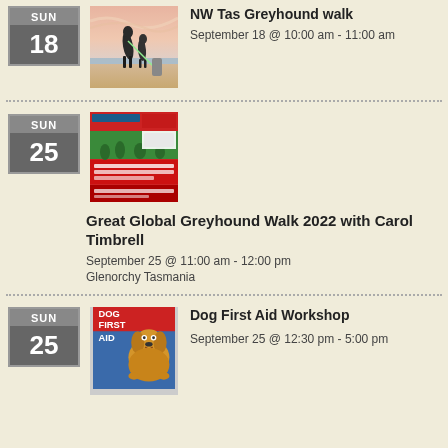SUN 18 | NW Tas Greyhound walk | September 18 @ 10:00 am - 11:00 am
SUN 25 | Great Global Greyhound Walk 2022 with Carol Timbrell | September 25 @ 11:00 am - 12:00 pm | Glenorchy Tasmania
SUN 25 | Dog First Aid Workshop | September 25 @ 12:30 pm - 5:00 pm